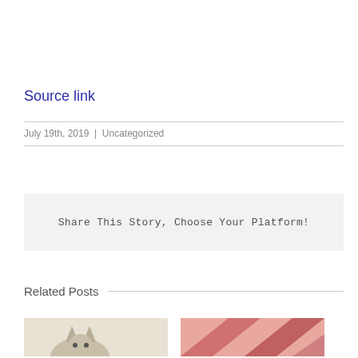Source link
July 19th, 2019 | Uncategorized
Share This Story, Choose Your Platform!
Related Posts
[Figure (photo): Partial thumbnail image showing a light-colored cat silhouette]
[Figure (photo): Partial thumbnail image with pink/red tones]